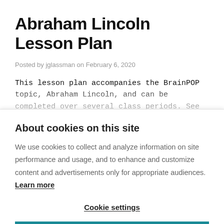Abraham Lincoln Lesson Plan
Posted by jglassman on February 6, 2020
This lesson plan accompanies the BrainPOP topic, Abraham Lincoln, and can be completed over several class periods. See suggested times for each section. OBJECTIVES Students will: Activate prior k…
About cookies on this site
We use cookies to collect and analyze information on site performance and usage, and to enhance and customize content and advertisements only for appropriate audiences. Learn more
Cookie settings
ALLOW ALL COOKIES